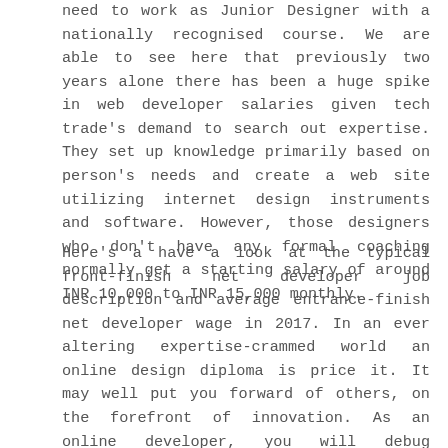need to work as Junior Designer with a nationally recognised course. We are able to see here that previously two years alone there has been a huge spike in web developer salaries given tech trade's demand to search out expertise. They set up knowledge primarily based on person's needs and create a web site utilizing internet design instruments and software. However, those designers who don't have any formal coaching normally get a starting salary of around INR 10,000 to INR 15,000 monthly.
Here's a have a look at the typical front-finish net developer job description and average entrance-finish net developer wage in 2017. In an ever altering expertise-crammed world an online design diploma is price it. It may well put you forward of others, on the forefront of innovation. As an online developer, you will debug applications, write code, integrate graphics and monitor net traffic. At present we are in search of another talented graphic designer with marketing